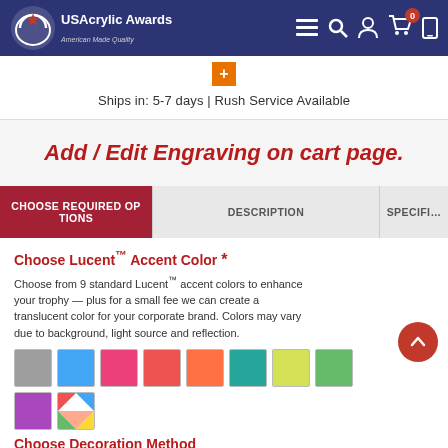USAcrylic Awards
Ships in: 5-7 days | Rush Service Available
Add / Edit Engraving on cart page.
CHOOSE REQUIRED OPTIONS
DESCRIPTION
SPECIFI…
Choose Lucent™ Accent Color *
Choose from 9 standard Lucent™ accent colors to enhance your trophy — plus for a small fee we can create a translucent color for your corporate brand. Colors may vary due to background, light source and reflection.
[Figure (infographic): Color swatches: gray, blue, pink, red, orange, teal, yellow-green, green, purple, and multi-color]
Choose Decoration Method